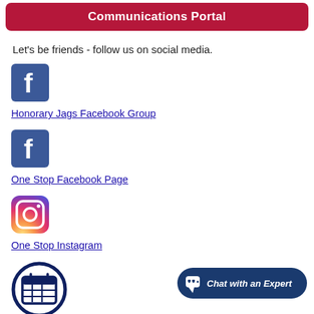Communications Portal
Let's be friends - follow us on social media.
[Figure (logo): Facebook logo icon (blue background with white f)]
Honorary Jags Facebook Group
[Figure (logo): Facebook logo icon (blue background with white f)]
One Stop Facebook Page
[Figure (logo): Instagram logo icon (gradient camera icon)]
One Stop Instagram
[Figure (illustration): Calendar icon - dark navy circle outline with calendar grid inside]
[Figure (other): Chat with an Expert button (dark navy rounded pill shape)]